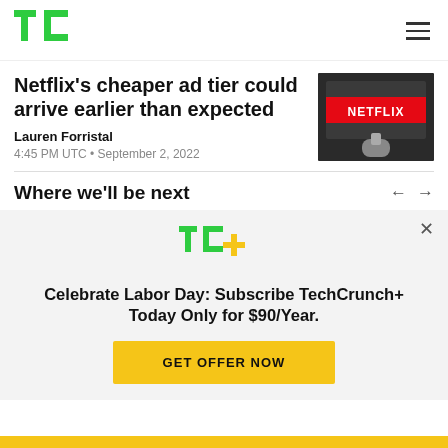TechCrunch (TC logo) - navigation header
Netflix’s cheaper ad tier could arrive earlier than expected
Lauren Forristal
4:45 PM UTC • September 2, 2022
[Figure (photo): Photo of a hand holding a TV remote pointing at a TV screen showing the Netflix logo on a black background]
Where we’ll be next
[Figure (logo): TC+ logo - TechCrunch Plus logo in green with yellow plus sign]
Celebrate Labor Day: Subscribe TechCrunch+ Today Only for $90/Year.
GET OFFER NOW